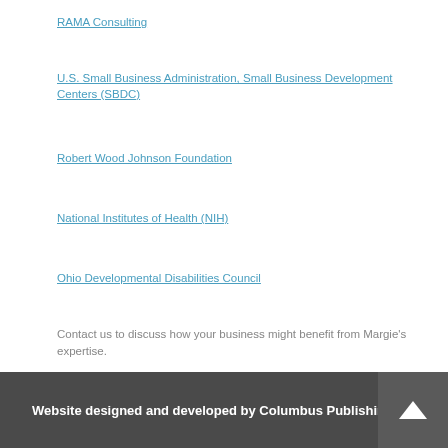RAMA Consulting
U.S. Small Business Administration, Small Business Development Centers (SBDC)
Robert Wood Johnson Foundation
National Institutes of Health (NIH)
Ohio Developmental Disabilities Council
Contact us to discuss how your business might benefit from Margie’s expertise.
Website designed and developed by Columbus Publishing Lab